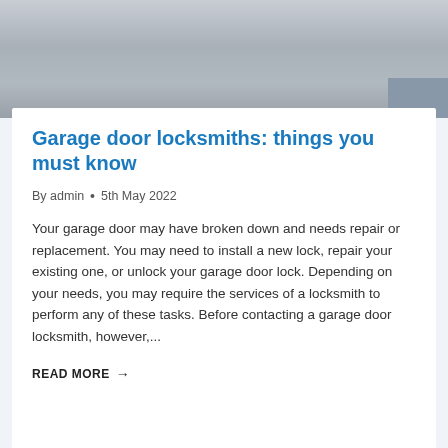[Figure (photo): Photo of an empty garage floor, grey concrete surface viewed from above, with a wall and baseboard visible at the top right.]
Garage door locksmiths: things you must know
By admin  •  5th May 2022
Your garage door may have broken down and needs repair or replacement. You may need to install a new lock, repair your existing one, or unlock your garage door lock. Depending on your needs, you may require the services of a locksmith to perform any of these tasks. Before contacting a garage door locksmith, however,...
READ MORE →